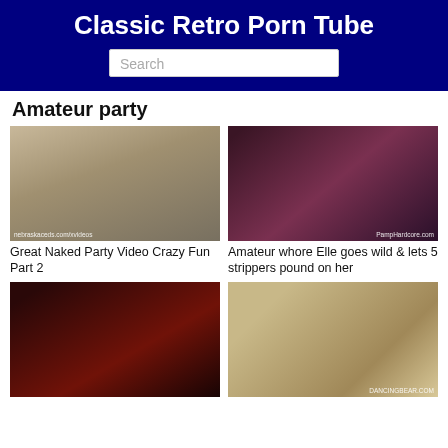Classic Retro Porn Tube
Search
Amateur party
[Figure (photo): Party scene thumbnail 1 - person in bathroom laughing, watermark: nebraskaceds.com/xvideos]
[Figure (photo): Party scene thumbnail 2 - people dancing at nightclub, watermark: PampHardcore.com]
Great Naked Party Video Crazy Fun Part 2
Amateur whore Elle goes wild & lets 5 strippers pound on her
[Figure (photo): Party scene thumbnail 3 - dark indoor party scene with red lighting]
[Figure (photo): Party scene thumbnail 4 - bedroom scene, watermark: DANCINGBEAR.COM]